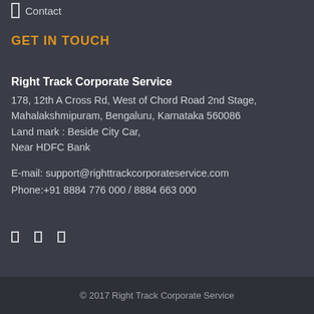Career
Contact
GET IN TOUCH
Right Track Corporate Service
178, 12th A Cross Rd, West of Chord Road 2nd Stage, Mahalakshmipuram, Bengaluru, Karnataka 560086
Land mark : Beside City Car,
Near HDFC Bank

E-mail: support@righttrackcorporateservice.com
Phone:+91 8884 776 000 / 8884 663 000
© 2017 Right Track Corporate Service